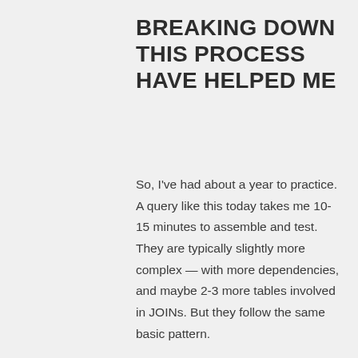BREAKING DOWN THIS PROCESS HAVE HELPED ME
So, I've had about a year to practice. A query like this today takes me 10-15 minutes to assemble and test. They are typically slightly more complex — with more dependencies, and maybe 2-3 more tables involved in JOINs. But they follow the same basic pattern.
Most queries on my data sets conform to recognizable patterns.
After a few months, we recognized that moving JSON for crash data into Postgres also added some advantages.